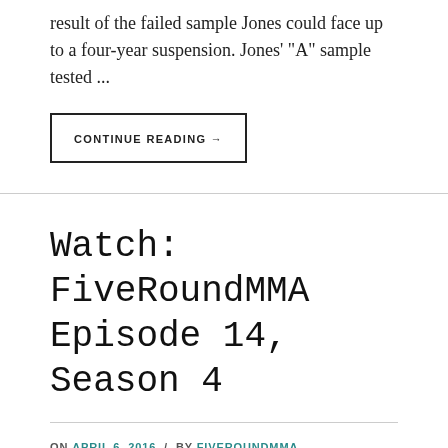result of the failed sample Jones could face up to a four-year suspension. Jones' "A" sample tested ...
CONTINUE READING →
Watch: FiveRoundMMA Episode 14, Season 4
ON APRIL 6, 2016 / BY FIVEROUNDMMA / LEAVE A COMMENT